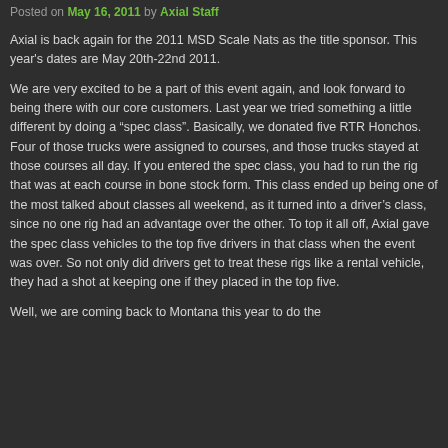Posted on May 16, 2011 by Axial Staff
Axial is back again for the 2011 MSD Scale Nats as the title sponsor. This year's dates are May 20th-22nd 2011.
We are very excited to be a part of this event again, and look forward to being there with our core customers. Last year we tried something a little different by doing a “spec class”. Basically, we donated five RTR Honchos. Four of those trucks were assigned to courses, and those trucks stayed at those courses all day. If you entered the spec class, you had to run the rig that was at each course in bone stock form. This class ended up being one of the most talked about classes all weekend, as it turned into a driver’s class, since no one rig had an advantage over the other. To top it all off, Axial gave the spec class vehicles to the top five drivers in that class when the event was over. So not only did drivers get to treat these rigs like a rental vehicle, they had a shot at keeping one if they placed in the top five.
Well, we are coming back to Montana this year to do the